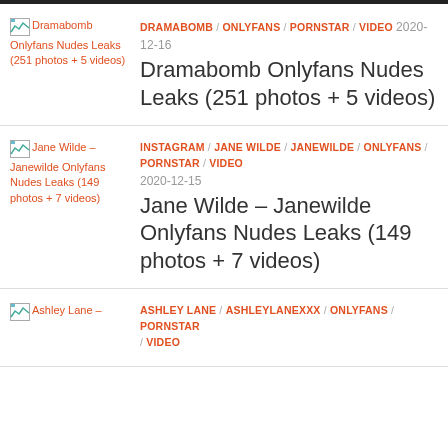DRAMABOMB / ONLYFANS / PORNSTAR / VIDEO  2020-12-16
Dramabomb Onlyfans Nudes Leaks (251 photos + 5 videos)
INSTAGRAM / JANE WILDE / JANEWILDE / ONLYFANS / PORNSTAR / VIDEO
2020-12-15
Jane Wilde – Janewilde Onlyfans Nudes Leaks (149 photos + 7 videos)
ASHLEY LANE / ASHLEYLANEXXX / ONLYFANS / PORNSTAR / VIDEO